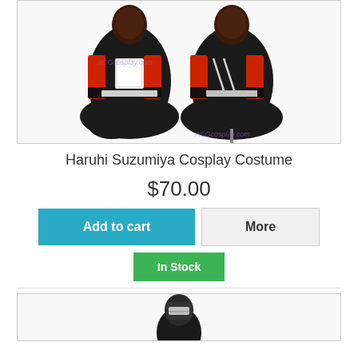[Figure (photo): Haruhi Suzumiya cosplay costume product photo showing front and back views of a black and red costume with white trim]
Haruhi Suzumiya Cosplay Costume
$70.00
Add to cart
More
In Stock
[Figure (photo): Another cosplay costume product photo partially visible at bottom of page]